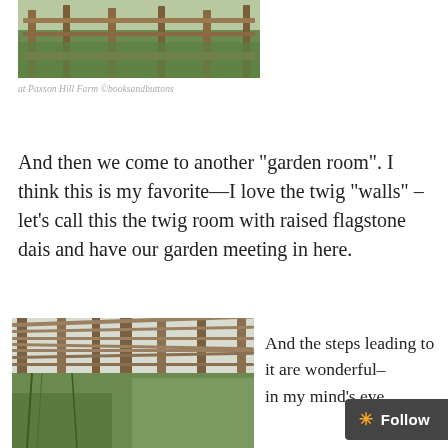[Figure (photo): Outdoor garden structure with wooden posts and fencing at Paxson Hill Farm, showing green grass and vegetation in background]
at Paxson Hill Farm ©booksandbuttons
And then we come to another “garden room”. I think this is my favorite—I love the twig “walls” –let’s call this the twig room with raised flagstone dais and have our garden meeting in here.
[Figure (photo): Interior view of a rustic twig pergola/garden room structure with wooden branch rafters overhead and overgrown vines, looking out toward trees and open sky]
And the steps leading to it are wonderful–
in my mind’s eye